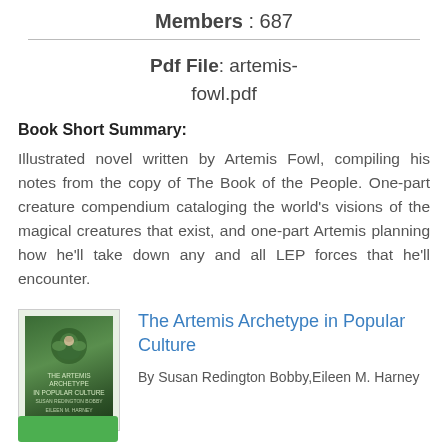Members : 687
Pdf File: artemis-fowl.pdf
Book Short Summary:
Illustrated novel written by Artemis Fowl, compiling his notes from the copy of The Book of the People. One-part creature compendium cataloging the world's visions of the magical creatures that exist, and one-part Artemis planning how he'll take down any and all LEP forces that he'll encounter.
The Artemis Archetype in Popular Culture
By Susan Redington Bobby,Eileen M. Harney
[Figure (illustration): Book cover of The Artemis Archetype in Popular Culture, green tones with foliage imagery and small text at bottom]